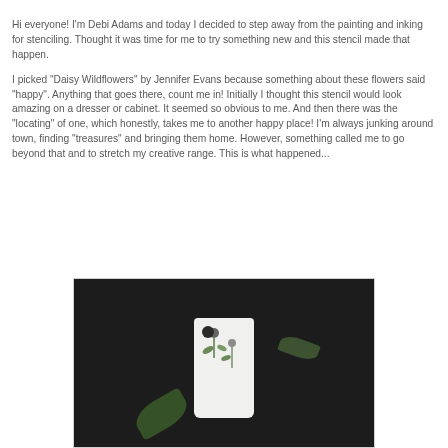Hi everyone! I'm Debi Adams and today I decided to step away from the painting and inking for stenciling. Thought it was time for me to try something new and this stencil made that happen.
I picked "Daisy Wildflowers" by Jennifer Evans because something about these flowers said "happy". Anything that goes there, count me in! Initially I thought this stencil would look amazing on a dresser or cabinet. It seemed so obvious to me. And then there was the "locating" of one, which honestly, takes me to another happy place! I'm always junking around town, finding "treasures" and bringing them home. However, something called me to go beyond that and to stretch my creative range. This is what happened...
[Figure (photo): A photo showing a white rectangular item (likely a vase or tile) with a stenciled daisy wildflowers design, placed on a dark background with some green leaves visible.]